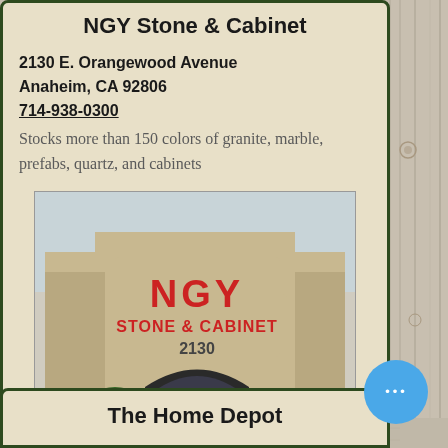NGY Stone & Cabinet
2130 E. Orangewood Avenue
Anaheim, CA 92806
714-938-0300
Stocks more than 150 colors of granite, marble, prefabs, quartz, and cabinets
[Figure (photo): Exterior photo of NGY Stone & Cabinet storefront at 2130, showing large red lettering on a tan/beige building facade with shrubs at the entrance]
The Home Depot